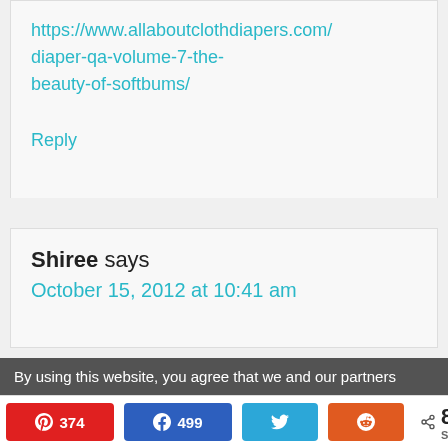https://www.allaboutclothdiapers.com/diaper-qa-volume-7-the-beauty-of-softbums/
Reply
Shiree says
October 15, 2012 at 10:41 am
By using this website, you agree that we and our partners
374 499 873 SHARES